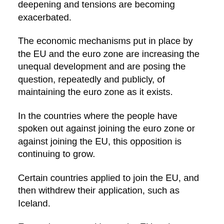deepening and tensions are becoming exacerbated.
The economic mechanisms put in place by the EU and the euro zone are increasing the unequal development and are posing the question, repeatedly and publicly, of maintaining the euro zone as it exists.
In the countries where the people have spoken out against joining the euro zone or against joining the EU, this opposition is continuing to grow.
Certain countries applied to join the EU, and then withdrew their application, such as Iceland.
Everywhere opposition to the EU, to its policies, its anti-democratic way of functioning is growing and, in the increasingly important sectors, this challenge also affects its decision to establish itself as an imperialist bloc in ever